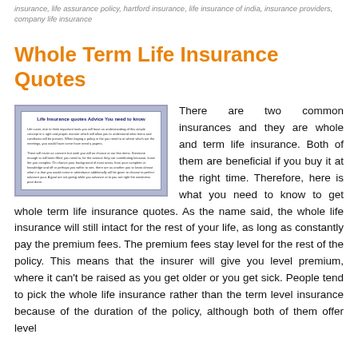insurance, life assurance policy, hartford insurance, life insurance of india, insurance providers, company life insurance
Whole Term Life Insurance Quotes
[Figure (illustration): Image of a document titled 'Life Insurance quotes Advice You need to know' with text content visible inside a bordered frame with a blue decorative border]
There are two common insurances and they are whole and term life insurance. Both of them are beneficial if you buy it at the right time. Therefore, here is what you need to know to get whole term life insurance quotes. As the name said, the whole life insurance will still intact for the rest of your life, as long as constantly pay the premium fees. The premium fees stay level for the rest of the policy. This means that the insurer will give you level premium, where it can't be raised as you get older or you get sick. People tend to pick the whole life insurance rather than the term level insurance because of the duration of the policy, although both of them offer level